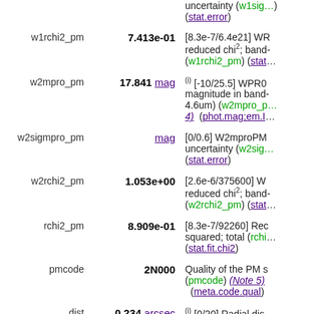uncertainty (w1sig...) (stat.error)
| Name | Value | Description |
| --- | --- | --- |
| w1rchi2_pm | 7.413e-01 | [8.3e-7/6.4e21] WR... reduced chi2; band-... (w1rchi2_pm) (stat... |
| w2mpro_pm | 17.841 mag | (i) [-10/25.5] WPRO... magnitude in band- 4.6um) (w2mpro_p... 4) (phot.mag;em.I... |
| w2sigmpro_pm | mag | [0/0.6] W2mproPM... uncertainty (w2sig... (stat.error) |
| w2rchi2_pm | 1.053e+00 | [2.6e-6/375600] W... reduced chi2; band-... (w2rchi2_pm) (stat... |
| rchi2_pm | 8.909e-01 | [8.3e-7/92260] Rec... squared; total (rchi... (stat.fit.chi2) |
| pmcode | 2N000 | Quality of the PM s... (pmcode) (Note 5) (meta.code.qual) |
| dist | 0.234 arcsec | (i) [0/20] Radial dis... between apparition... |